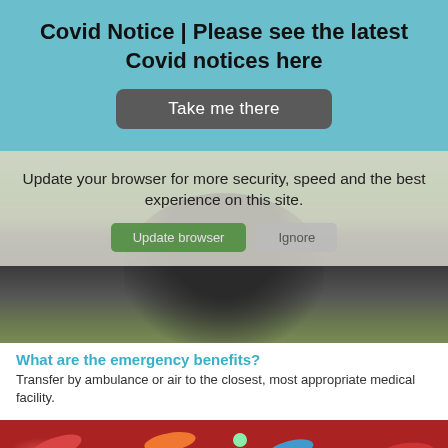Covid Notice | Please see the latest Covid notices here
Take me there
[Figure (screenshot): Webpage screenshot showing a browser update notification overlay on top of an outdoor photo of a person stretching arms. Overlay reads: 'Update your browser for more security, speed and the best experience on this site.' with 'Update browser' and 'Ignore' buttons.]
What are the emergency benefits?
Transfer by ambulance or air to the closest, most appropriate medical facility.
[Figure (photo): Close-up photo of colorful assorted pills, capsules, and tablets scattered around a small dark gavel or medicine bottle.]